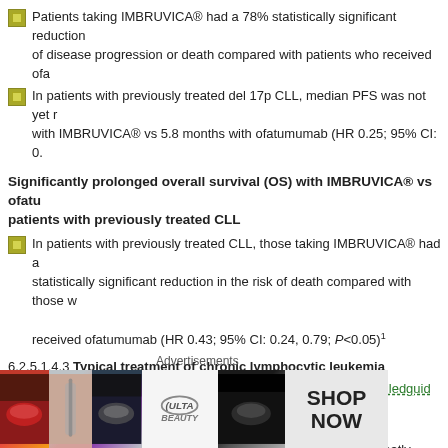Patients taking IMBRUVICA® had a 78% statistically significant reduction of disease progression or death compared with patients who received ofa
In patients with previously treated del 17p CLL, median PFS was not yet reached with IMBRUVICA® vs 5.8 months with ofatumumab (HR 0.25; 95% CI: 0.
Significantly prolonged overall survival (OS) with IMBRUVICA® vs ofatu patients with previously treated CLL
In patients with previously treated CLL, those taking IMBRUVICA® had a statistically significant reduction in the risk of death compared with those who received ofatumumab (HR 0.43; 95% CI: 0.24, 0.79; P<0.05)¹
6.2.5.1.4.3 Typical treatment of chronic lymphocytic leukemia
http://www.cancer.org/cancer/leukemia-chroniclymphocyticcll/detailedguide/le lymphocytic-treating-treatment-by-risk-group
Treatment options for chronic lymphocytic leukemia (CLL) vary greatly, depending on a person's age, the disease risk group, and the reason for treating (for example, symptoms it is causing). Many people live a long time with CLL, but in ge
Advertisements
[Figure (other): ULTA Beauty advertisement banner with cosmetics imagery and SHOP NOW call to action]